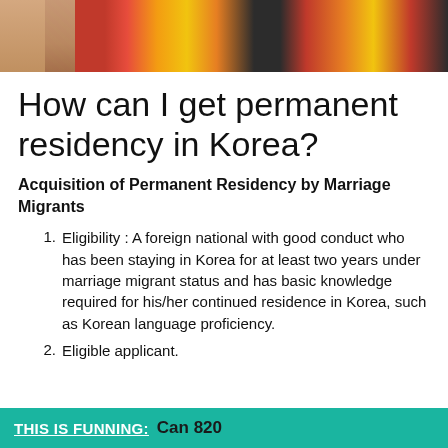[Figure (photo): Cropped photo showing people wearing colorful traditional African-style clothing with red, yellow, and patterned fabric]
How can I get permanent residency in Korea?
Acquisition of Permanent Residency by Marriage Migrants
Eligibility : A foreign national with good conduct who has been staying in Korea for at least two years under marriage migrant status and has basic knowledge required for his/her continued residence in Korea, such as Korean language proficiency.
Eligible applicant.
THIS IS FUNNING:  Can 820